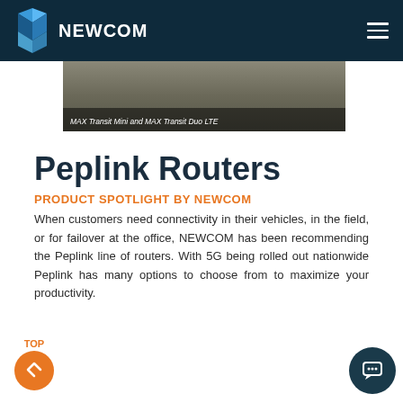NEWCOM
[Figure (photo): Product image with caption text: MAX Transit Mini and MAX Transit Duo LTE]
Peplink Routers
PRODUCT SPOTLIGHT BY NEWCOM
When customers need connectivity in their vehicles, in the field, or for failover at the office, NEWCOM has been recommending the Peplink line of routers. With 5G being rolled out nationwide Peplink has many options to choose from to maximize your productivity.